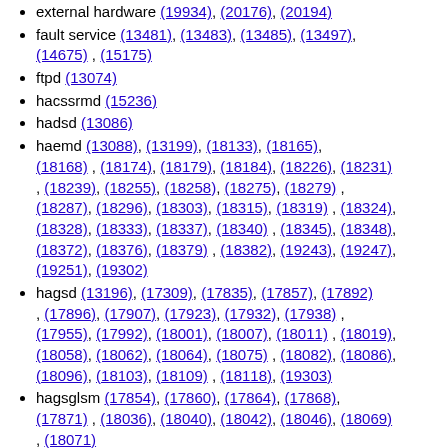external hardware (19934), (20176), (20194)
fault service (13481), (13483), (13485), (13497), (14675) , (15175)
ftpd (13074)
hacssrmd (15236)
hadsd (13086)
haemd (13088), (13199), (18133), (18165), (18168) , (18174), (18179), (18184), (18226), (18231) , (18239), (18255), (18258), (18275), (18279) , (18287), (18296), (18303), (18315), (18319) , (18324), (18328), (18333), (18337), (18340) , (18345), (18348), (18372), (18376), (18379) , (18382), (19243), (19247), (19251), (19302)
hagsd (13196), (17309), (17835), (17857), (17892) , (17896), (17907), (17923), (17932), (17938) , (17955), (17992), (18001), (18007), (18011) , (18019), (18058), (18062), (18064), (18075) , (18082), (18086), (18096), (18103), (18109) , (18118), (19303)
hagsglsm (17854), (17860), (17864), (17868), (17871) , (18036), (18040), (18042), (18046), (18069) , (18071)
hardmon (16651), (16655), (16671), (16718), (16812) , (16830), (16832), (16841), (16858), (16895) , (17023), (17026), (19298), (20222)